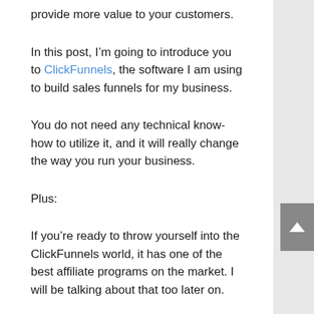provide more value to your customers.
In this post, I’m going to introduce you to ClickFunnels, the software I am using to build sales funnels for my business.
You do not need any technical know-how to utilize it, and it will really change the way you run your business.
Plus:
If you’re ready to throw yourself into the ClickFunnels world, it has one of the best affiliate programs on the market. I will be talking about that too later on.